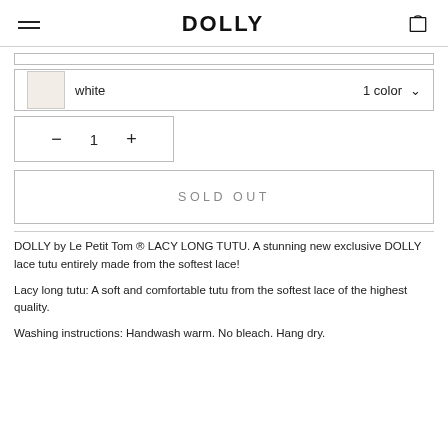DOLLY
white  1 color
− 1 +
SOLD OUT
DOLLY by Le Petit Tom ® LACY LONG TUTU. A stunning new exclusive DOLLY lace tutu entirely made from the softest lace!
Lacy long tutu: A soft and comfortable tutu from the softest lace of the highest quality.
Washing instructions: Handwash warm. No bleach. Hang dry.